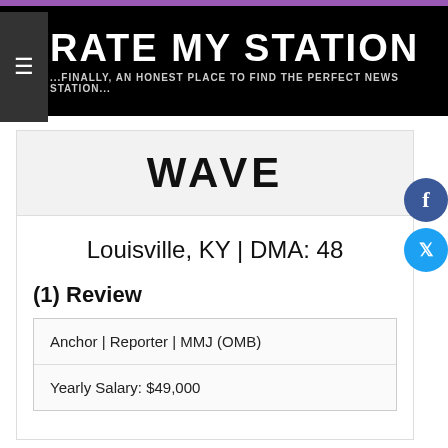RATE MY STATION — ...FINALLY, AN HONEST PLACE TO FIND THE PERFECT NEWS STATION...
WAVE
Louisville, KY | DMA: 48
(1) Review
| Anchor | Reporter | MMJ (OMB) |
| Yearly Salary: $49,000 |